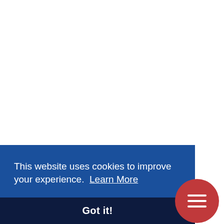This website uses cookies to improve your experience.  Learn More
Got it!
[Figure (other): Red circular hamburger menu button with three white horizontal lines]